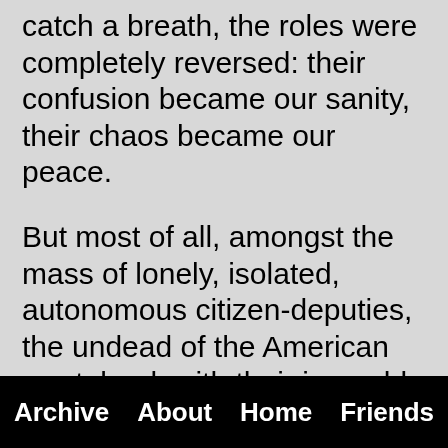catch a breath, the roles were completely reversed: their confusion became our sanity, their chaos became our peace.
But most of all, amongst the mass of lonely, isolated, autonomous citizen-deputies, the undead of the American wasteland, with their incurable neuroses and deranged habits, we saw, for the first time, a slight glimpse of humanity.
Archive   About   Home   Friends